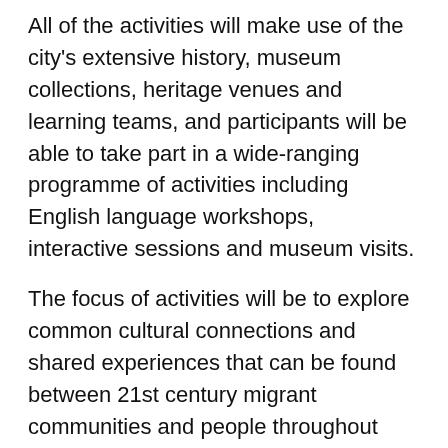All of the activities will make use of the city's extensive history, museum collections, heritage venues and learning teams, and participants will be able to take part in a wide-ranging programme of activities including English language workshops, interactive sessions and museum visits.
The focus of activities will be to explore common cultural connections and shared experiences that can be found between 21st century migrant communities and people throughout Southampton's past and present (for example the Windrush Generation and Southampton's role as a sanctuary town welcoming refugees and migrants from across the world).
Is it all face-to-face sessions?
In addition to physical workshops, there'll also be lots of fantastic FREE downloadable activity sheets, trails and packs that will help explore the town's amazing history and